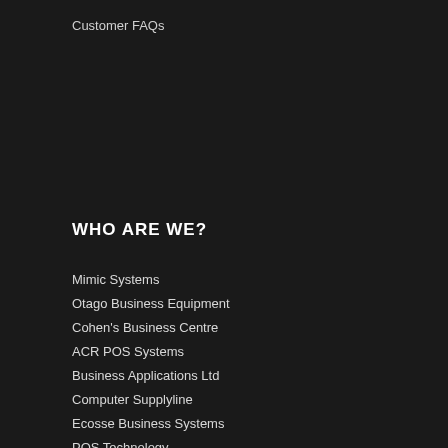Customer FAQs
WHO ARE WE?
Mimic Systems
Otago Business Equipment
Cohen's Business Centre
ACR POS Systems
Business Applications Ltd
Computer Supplyline
Ecosse Business Systems
POS Technology
POSPro Business Systems
Retail Systems H.B.
TotalPOS Solutions
The Point of Sale Company